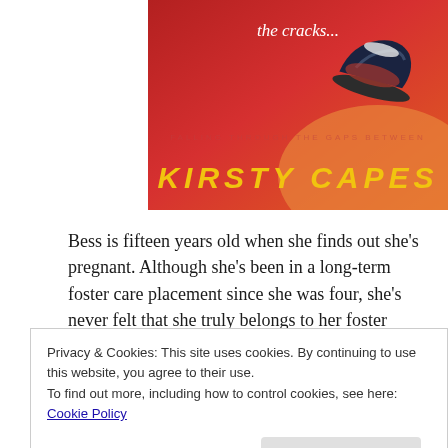[Figure (illustration): Book cover for a novel by Kirsty Capes. Red-orange gradient background with text 'the cracks...' in white italic at the top, a shoe/sneaker graphic at the upper right, and the author name 'KIRSTY CAPES' in large yellow bold italic letters at the bottom.]
Bess is fifteen years old when she finds out she’s pregnant. Although she’s been in a long-term foster care placement since she was four, she’s never felt that she truly belongs to her foster family, and her boyfriend, Boy, has gone AWOL. The only person she can really rely on is her best friend Eshal, but Eshal has problems of her own – she’s worried that her
Privacy & Cookies: This site uses cookies. By continuing to use this website, you agree to their use.
To find out more, including how to control cookies, see here: Cookie Policy
Close and accept
explore her relationship with Boy and friendship